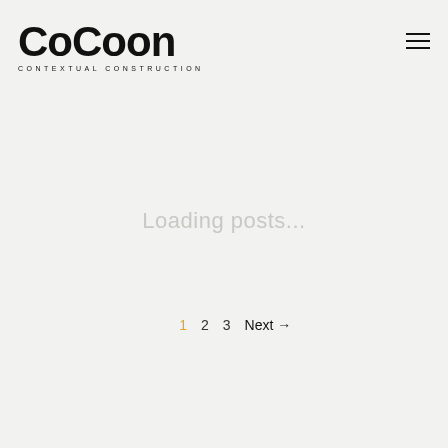CoCoon CONTEXTUAL CONSTRUCTION
Loading posts...
1  2  3  Next →